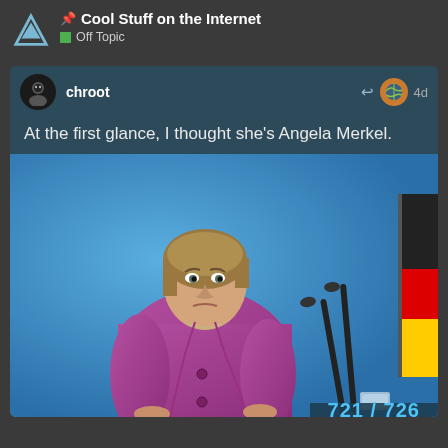Cool Stuff on the Internet / Off Topic
chroot · 4d
At the first glance, I thought she's Angela Merkel.
[Figure (photo): A woman in a purple jacket standing at a podium with microphones, in front of a blue background, with a German flag visible on the right side.]
721 / 726